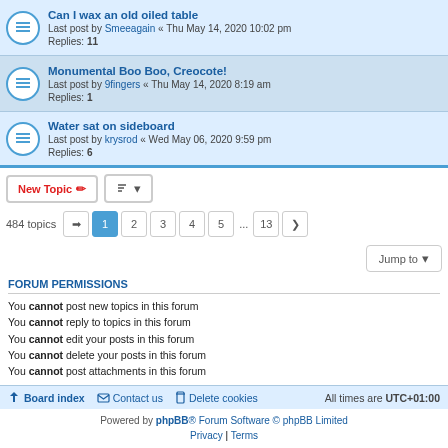Can I wax an old oiled table — Last post by Smeeagain « Thu May 14, 2020 10:02 pm — Replies: 11
Monumental Boo Boo, Creocote! — Last post by 9fingers « Thu May 14, 2020 8:19 am — Replies: 1
Water sat on sideboard — Last post by krysrod « Wed May 06, 2020 9:59 pm — Replies: 6
New Topic | Sort | 484 topics | pages 1 2 3 4 5 ... 13 | Jump to
FORUM PERMISSIONS
You cannot post new topics in this forum
You cannot reply to topics in this forum
You cannot edit your posts in this forum
You cannot delete your posts in this forum
You cannot post attachments in this forum
Board index | Contact us | Delete cookies | All times are UTC+01:00
Powered by phpBB® Forum Software © phpBB Limited | Privacy | Terms